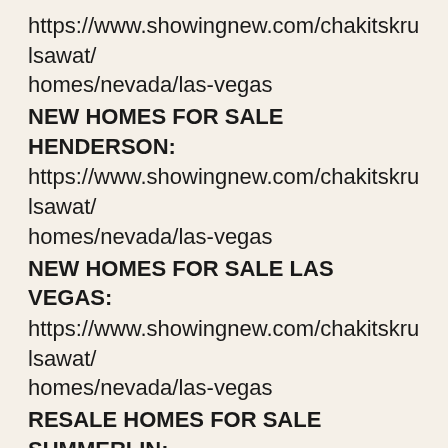https://www.showingnew.com/chakitskrulsawat/homes/nevada/las-vegas
NEW HOMES FOR SALE HENDERSON:
https://www.showingnew.com/chakitskrulsawat/homes/nevada/las-vegas
NEW HOMES FOR SALE LAS VEGAS:
https://www.showingnew.com/chakitskrulsawat/homes/nevada/las-vegas
RESALE HOMES FOR SALE SUMMERLIN:
https://www.lvhomeexperts.com/index.php?advanced=1&display=summerlin&areas%5B0%5D=city%3A%25summerlin%25&areas%5B1%5D=zip%3A%25summerlin%25&areas%5B2%5D=zip%3A%25summerlin%25&areas%5B2